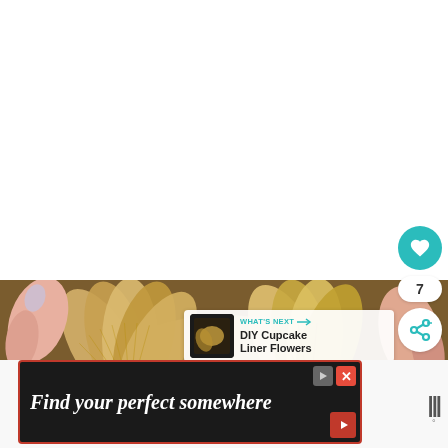[Figure (photo): White blank top area of a webpage]
[Figure (photo): Hands holding golden/tan coffee filter flowers, DIY craft project on wooden background]
[Figure (screenshot): WHAT'S NEXT panel showing thumbnail and text 'DIY Cupcake Liner Flowers']
[Figure (screenshot): Advertisement banner: 'Find your perfect somewhere' on dark background with red border]
[Figure (logo): Right side logo with dots and degree symbol]